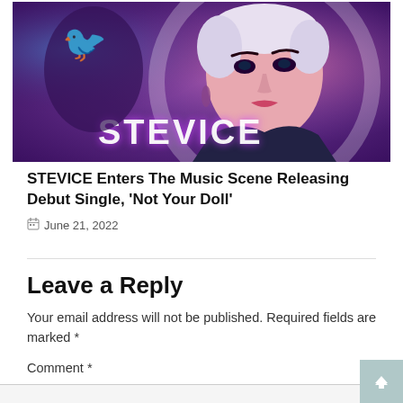[Figure (photo): Promotional image of STEVICE artist with purple/pink background lighting and stylized text 'STEVICE']
STEVICE Enters The Music Scene Releasing Debut Single, 'Not Your Doll'
June 21, 2022
Leave a Reply
Your email address will not be published. Required fields are marked *
Comment *